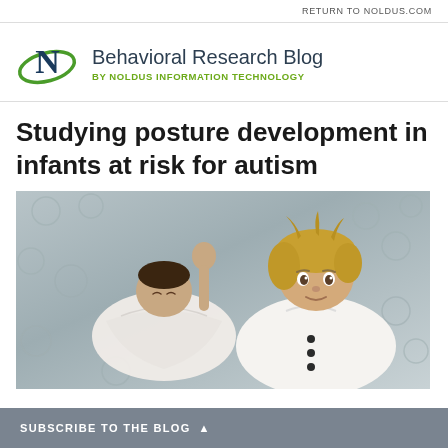RETURN TO NOLDUS.COM
Behavioral Research Blog BY NOLDUS INFORMATION TECHNOLOGY
Studying posture development in infants at risk for autism
[Figure (photo): Overhead view of a newborn baby wrapped in white cloth lying next to a toddler/young child with blonde hair, both on a textured grey blanket. The older child is looking up at the camera.]
SUBSCRIBE TO THE BLOG